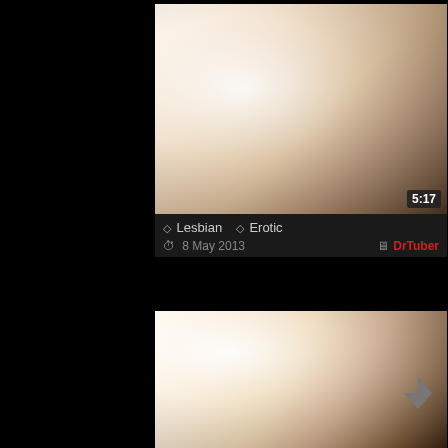[Figure (screenshot): Video thumbnail showing two people kissing, soft lighting, duration 5:17]
◇ Lesbian   ◇ Erotic
⏱ 8 May 2013   🖥 DrTuber
[Figure (screenshot): Video thumbnail showing a person lying on a bed, soft bright lighting]